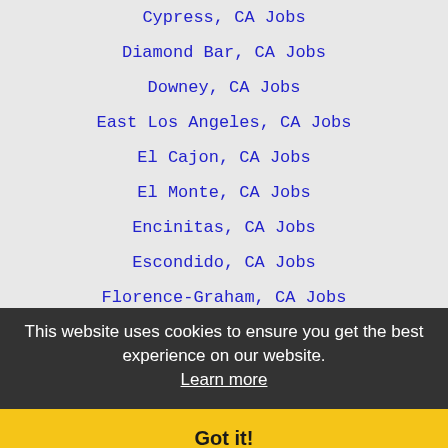Cypress, CA Jobs
Diamond Bar, CA Jobs
Downey, CA Jobs
East Los Angeles, CA Jobs
El Cajon, CA Jobs
El Monte, CA Jobs
Encinitas, CA Jobs
Escondido, CA Jobs
Florence-Graham, CA Jobs
Fountain Valley, CA Jobs
Fullerton, CA Jobs
Garden Grove, CA Jobs
Gardena, CA Jobs
Glendale, CA Jobs
Glendora, CA Jobs
Hacienda Heights, CA Jobs
Hawthorne, CA Jobs
Hemet, CA Jobs
This website uses cookies to ensure you get the best experience on our website. Learn more
Got it!